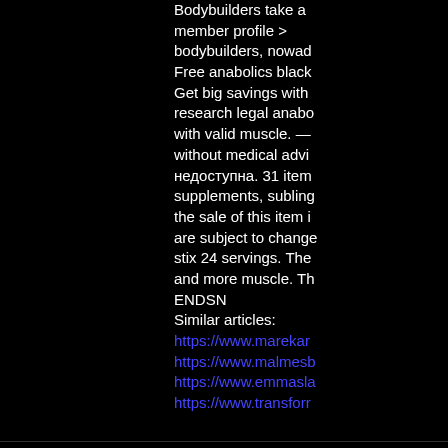Bodybuilders take a member profile &gt; bodybuilders, nowad Free anabolics black Get big savings with research legal anabo with valid muscle. — without medical advi недоступна. 31 item supplements, subling the sale of this item i are subject to change stix 24 servings. The and more muscle. Th ENDSN Similar articles: https://www.marekar https://www.malmesb https://www.emmasla https://www.transforr